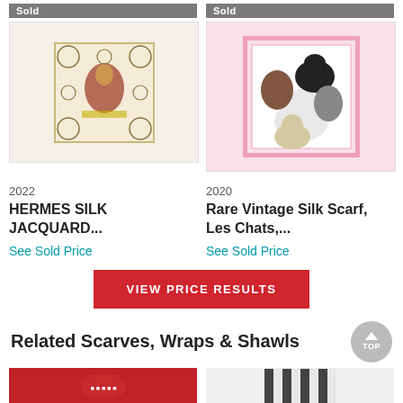[Figure (photo): Hermes silk jacquard scarf product image with 'Sold' badge]
[Figure (photo): Rare Vintage Silk Scarf Les Chats product image with cats, pink border, 'Sold' badge]
2022
2020
HERMES SILK JACQUARD...
Rare Vintage Silk Scarf, Les Chats,...
See Sold Price
See Sold Price
VIEW PRICE RESULTS
Related Scarves, Wraps & Shawls
[Figure (photo): Red scarf thumbnail]
[Figure (photo): Black and white patterned scarf thumbnail]